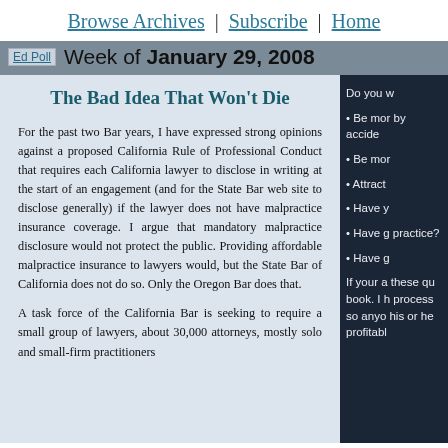Browse Archives | Subscribe | Home
Ed Poll — Week of January 29, 2008
The Bad Idea That Won't Die
For the past two Bar years, I have expressed strong opinions against a proposed California Rule of Professional Conduct that requires each California lawyer to disclose in writing at the start of an engagement (and for the State Bar web site to disclose generally) if the lawyer does not have malpractice insurance coverage. I argue that mandatory malpractice disclosure would not protect the public. Providing affordable malpractice insurance to lawyers would, but the State Bar of California does not do so. Only the Oregon Bar does that.
A task force of the California Bar is seeking to require a small group of lawyers, about 30,000 attorneys, mostly solo and small-firm practitioners
Do you w
• Be mor by accide
• Be mor
• Attract
• Have y
• Have g practice?
• Have g

If your a these qu book. I h process so anyo his or he profitabl